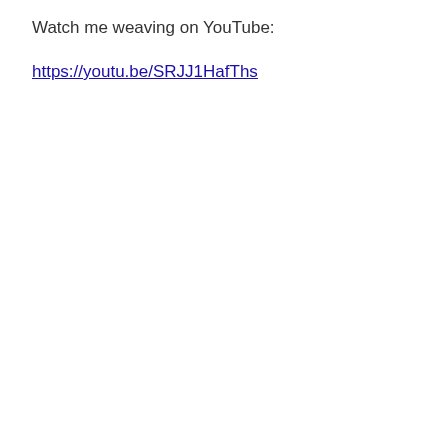Watch me weaving on YouTube:
https://youtu.be/SRJJ1HafThs